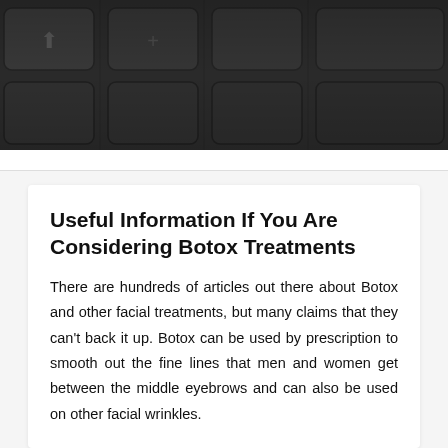[Figure (photo): Dark-toned keyboard photo header showing close-up of keyboard keys with dark gray/charcoal coloring, divided into grid sections by vertical lines]
Useful Information If You Are Considering Botox Treatments
There are hundreds of articles out there about Botox and other facial treatments, but many claims that they can't back it up. Botox can be used by prescription to smooth out the fine lines that men and women get between the middle eyebrows and can also be used on other facial wrinkles.